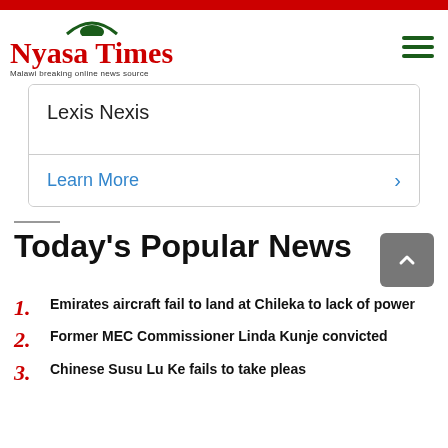Nyasa Times — Malawi breaking online news source
[Figure (screenshot): Lexis Nexis advertisement box with 'Learn More' link]
Today's Popular News
1. Emirates aircraft fail to land at Chileka to lack of power
2. Former MEC Commissioner Linda Kunje convicted
3. Chinese Susu Lu Ke fails to take pleas